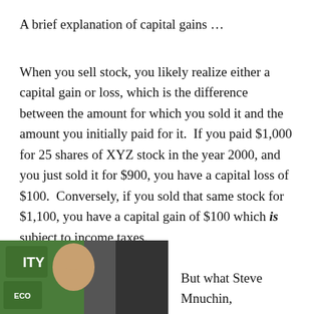A brief explanation of capital gains …
When you sell stock, you likely realize either a capital gain or loss, which is the difference between the amount for which you sold it and the amount you initially paid for it.  If you paid $1,000 for 25 shares of XYZ stock in the year 2000, and you just sold it for $900, you have a capital loss of $100.  Conversely, if you sold that same stock for $1,100, you have a capital gain of $100 which is subject to income taxes.
[Figure (photo): Photo of a person, partially visible, with green background elements including what appears to be a logo or sign with 'ITY' text visible]
But what Steve Mnuchin,